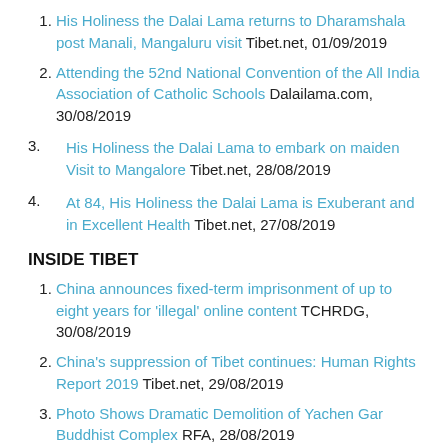His Holiness the Dalai Lama returns to Dharamshala post Manali, Mangaluru visit Tibet.net, 01/09/2019
Attending the 52nd National Convention of the All India Association of Catholic Schools Dalailama.com, 30/08/2019
His Holiness the Dalai Lama to embark on maiden Visit to Mangalore Tibet.net, 28/08/2019
At 84, His Holiness the Dalai Lama is Exuberant and in Excellent Health Tibet.net, 27/08/2019
INSIDE TIBET
China announces fixed-term imprisonment of up to eight years for 'illegal' online content TCHRDG, 30/08/2019
China's suppression of Tibet continues: Human Rights Report 2019 Tibet.net, 29/08/2019
Photo Shows Dramatic Demolition of Yachen Gar Buddhist Complex RFA, 28/08/2019
China trains Tibetan monks in the atheist government's…